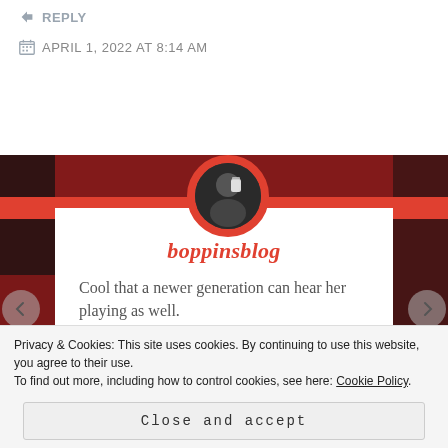↳ REPLY
APRIL 1, 2022 AT 8:14 AM
[Figure (screenshot): Blog comment card from boppinsblog with profile avatar on red background wall. Card shows blog name 'boppinsblog' in red, comment text 'Cool that a newer generation can hear her playing as well.' and a like button.]
boppinsblog
Cool that a newer generation can hear her playing as well.
Like
Privacy & Cookies: This site uses cookies. By continuing to use this website, you agree to their use.
To find out more, including how to control cookies, see here: Cookie Policy
Close and accept